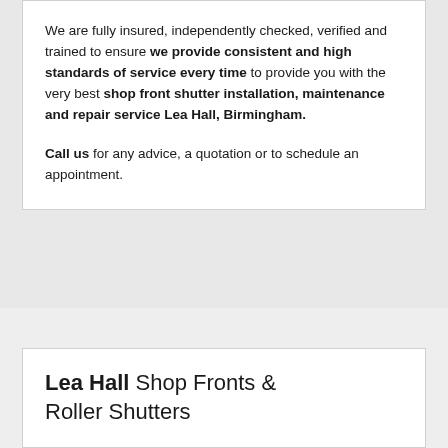We are fully insured, independently checked, verified and trained to ensure we provide consistent and high standards of service every time to provide you with the very best shop front shutter installation, maintenance and repair service Lea Hall, Birmingham.

Call us for any advice, a quotation or to schedule an appointment.
Lea Hall Shop Fronts & Roller Shutters